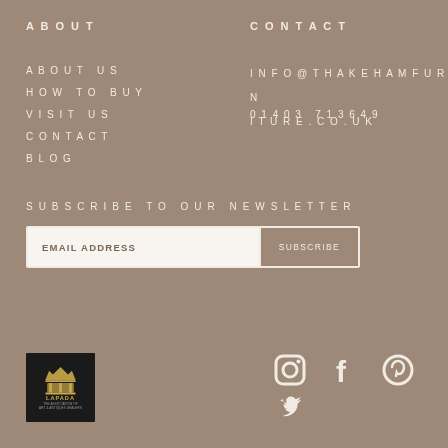ABOUT
CONTACT
ABOUT US
INFO@THAKEHAMFURN
ITURE.CO.UK
HOW TO BUY
VISIT US
01403 713649
CONTACT
BLOG
SUBSCRIBE TO OUR NEWSLETTER
[Figure (other): Email address input field with Subscribe button]
[Figure (logo): LAPADA - The Association of Art & Antiques Dealers logo on black background]
[Figure (other): Social media icons: Instagram, Facebook, Pinterest, Twitter]